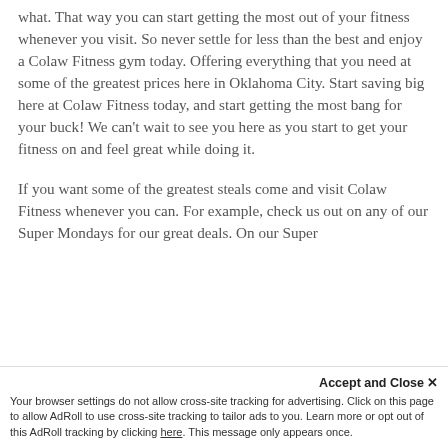what. That way you can start getting the most out of your fitness whenever you visit. So never settle for less than the best and enjoy a Colaw Fitness gym today. Offering everything that you need at some of the greatest prices here in Oklahoma City. Start saving big here at Colaw Fitness today, and start getting the most bang for your buck! We can't wait to see you here as you start to get your fitness on and feel great while doing it.
If you want some of the greatest steals come and visit Colaw Fitness whenever you can. For example, check us out on any of our Super Mondays for our great deals. On our Super...
Accept and Close ×
Your browser settings do not allow cross-site tracking for advertising. Click on this page to allow AdRoll to use cross-site tracking to tailor ads to you. Learn more or opt out of this AdRoll tracking by clicking here. This message only appears once.